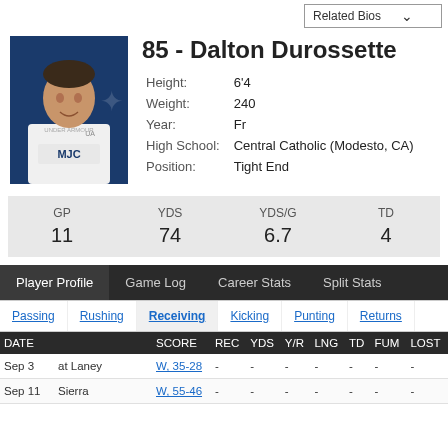85 - Dalton Durossette
Height: 6'4
Weight: 240
Year: Fr
High School: Central Catholic (Modesto, CA)
Position: Tight End
| GP | YDS | YDS/G | TD |
| --- | --- | --- | --- |
| 11 | 74 | 6.7 | 4 |
Player Profile | Game Log | Career Stats | Split Stats
Passing | Rushing | Receiving | Kicking | Punting | Returns
| DATE |  | SCORE | REC | YDS | Y/R | LNG | TD | FUM | LOST |
| --- | --- | --- | --- | --- | --- | --- | --- | --- | --- |
| Sep 3 | at Laney | W, 35-28 | - | - | - | - | - | - | - |
| Sep 11 | Sierra | W, 55-46 | - | - | - | - | - | - | - |